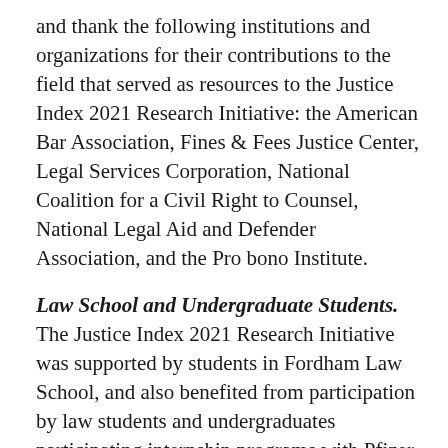and thank the following institutions and organizations for their contributions to the field that served as resources to the Justice Index 2021 Research Initiative: the American Bar Association, Fines & Fees Justice Center, Legal Services Corporation, National Coalition for a Civil Right to Counsel, National Legal Aid and Defender Association, and the Pro bono Institute.
Law School and Undergraduate Students. The Justice Index 2021 Research Initiative was supported by students in Fordham Law School, and also benefited from participation by law students and undergraduates participating internship programs with Pfizer, DLA Piper and the other pro bono partners.